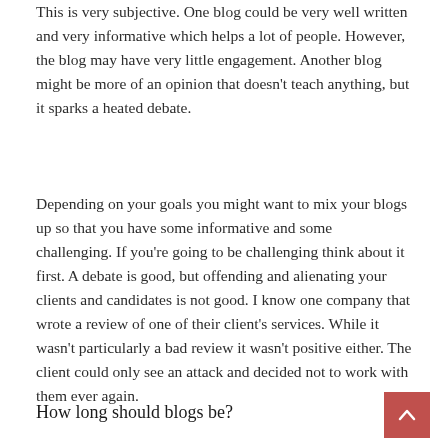This is very subjective. One blog could be very well written and very informative which helps a lot of people. However, the blog may have very little engagement. Another blog might be more of an opinion that doesn't teach anything, but it sparks a heated debate.
Depending on your goals you might want to mix your blogs up so that you have some informative and some challenging. If you're going to be challenging think about it first. A debate is good, but offending and alienating your clients and candidates is not good. I know one company that wrote a review of one of their client's services. While it wasn't particularly a bad review it wasn't positive either. The client could only see an attack and decided not to work with them ever again.
How long should blogs be?